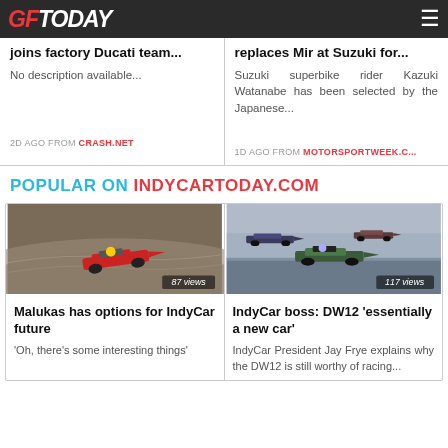GFToday
joins factory Ducati team...
No description available...
2D AGO FROM CRASH.NET
replaces Mir at Suzuki for...
Suzuki superbike rider Kazuki Watanabe has been selected by the Japanese...
1D AGO FROM MOTORSPORTWEEK.C...
POPULAR ON INDYCARTODAY.COM
[Figure (photo): IndyCar racing car on track, 87 views]
Malukas has options for IndyCar future
'Oh, there's some interesting things'
[Figure (photo): Multiple IndyCar racing cars on track, 117 views]
IndyCar boss: DW12 'essentially a new car'
IndyCar President Jay Frye explains why the DW12 is still worthy of racing...